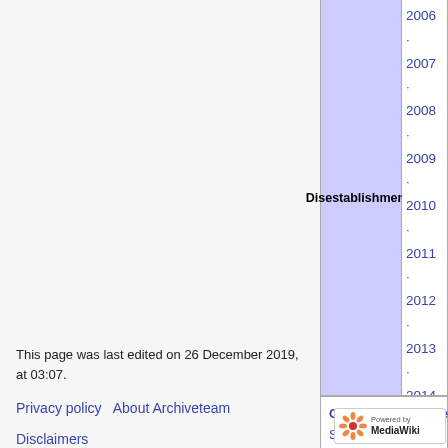| Disestablishments | Years |
| --- | --- |
| Disestablishments | 2006 · 2007 · 2008 · 2009 · 2010 · 2011 · 2012 · 2013 · 2014 · 2015 · 2016 · 2017 · 2018 · 2019 (bot updated lists) |
Categories:  Rescued Sites | Not saved yet | ArchiveBot | Archive Team
This page was last edited on 26 December 2019, at 03:07.
Privacy policy   About Archiveteam
Disclaimers